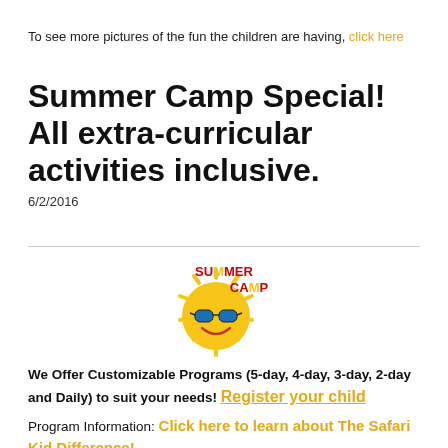To see more pictures of the fun the children are having, click here
Summer Camp Special! All extra-curricular activities inclusive.
6/2/2016
[Figure (logo): Summer Camp logo with a smiling sun character wearing sunglasses and the text 'SUMMER CAMP' in stylized letters]
We Offer Customizable Programs (5-day, 4-day, 3-day, 2-day and Daily) to suit your needs! Register your child
Program Information: Click here to learn about The Safari Kid Difference!